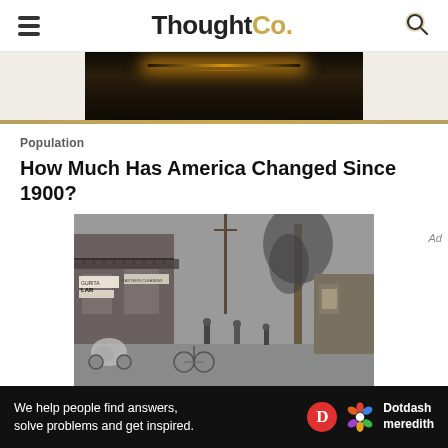ThoughtCo.
[Figure (photo): Partial dark image visible at top, appears to be a nighttime or interior scene with light reflections]
Population
How Much Has America Changed Since 1900?
[Figure (photo): Black and white historical photograph of an early 1900s American street scene with horse-drawn carriage, pedestrians, storefronts with signs, and trees]
We help people find answers, solve problems and get inspired. Dotdash meredith